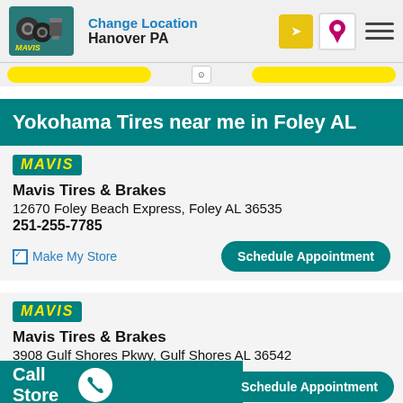Change Location Hanover PA
Yokohama Tires near me in Foley AL
[Figure (logo): MAVIS badge/logo teal background with yellow text]
Mavis Tires & Brakes
12670 Foley Beach Express, Foley AL 36535
251-255-7785
Make My Store  Schedule Appointment
[Figure (logo): MAVIS badge/logo teal background with yellow text]
Mavis Tires & Brakes
3908 Gulf Shores Pkwy, Gulf Shores AL 36542
251-706-7381
Call Store  Schedule Appointment